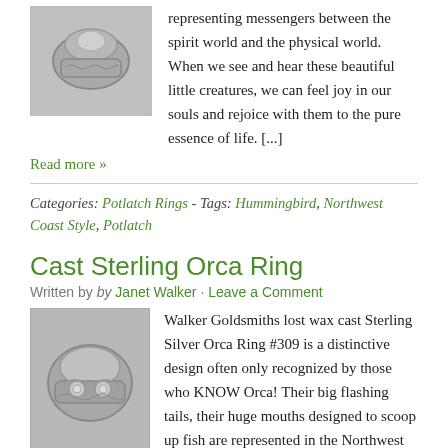[Figure (photo): Silver ring photo top]
representing messengers between the spirit world and the physical world. When we see and hear these beautiful little creatures, we can feel joy in our souls and rejoice with them to the pure essence of life. [...]
Read more »
Categories: Potlatch Rings - Tags: Hummingbird, Northwest Coast Style, Potlatch
Cast Sterling Orca Ring
Written by Janet Walker · Leave a Comment
[Figure (photo): Silver orca ring photo]
Walker Goldsmiths lost wax cast Sterling Silver Orca Ring #309 is a distinctive design often only recognized by those who KNOW Orca! Their big flashing tails, their huge mouths designed to scoop up fish are represented in the Northwest Coast Style on this Orca Ring. Orca, or Killer Whale, is [...] Read more »